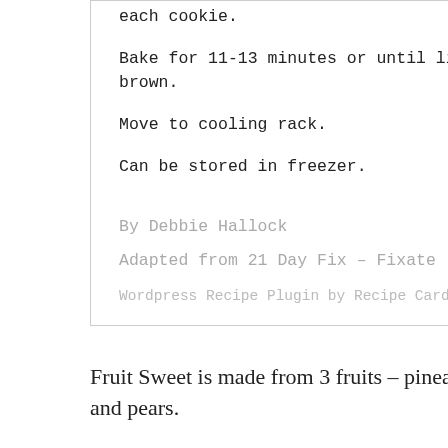each cookie.
Bake for 11-13 minutes or until light golden brown.
Move to cooling rack.
Can be stored in freezer.
By Debbie Hallock
Adapted from 21 Day Fix – Fixate
Wordpress Recipe Plugin by Recipe Card
Fruit Sweet is made from 3 fruits – pineapple, peaches and pears.